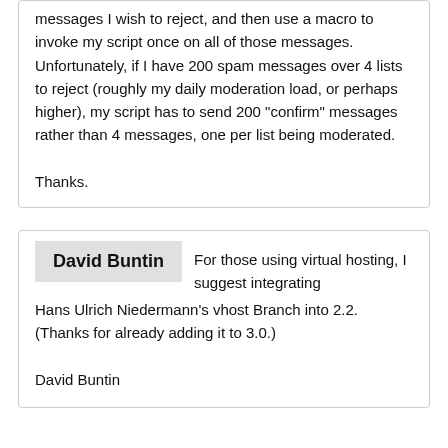messages I wish to reject, and then use a macro to invoke my script once on all of those messages. Unfortunately, if I have 200 spam messages over 4 lists to reject (roughly my daily moderation load, or perhaps higher), my script has to send 200 "confirm" messages rather than 4 messages, one per list being moderated.

Thanks.
David Buntin — For those using virtual hosting, I suggest integrating Hans Ulrich Niedermann's vhost Branch into 2.2. (Thanks for already adding it to 3.0.)

David Buntin